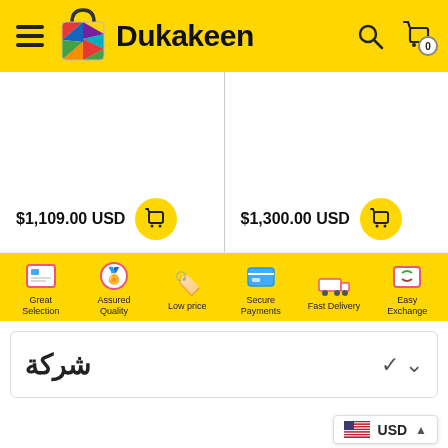[Figure (logo): Dukakeen shopping app header with yellow background, hamburger menu, colorful bag logo, Dukakeen text, search icon, and cart icon with 0 badge]
$1,109.00 USD
$1,300.00 USD
[Figure (infographic): Yellow bottom bar with 6 icons and labels: Great Selection, Assured Quality, Low price, Secure Payments, Fast Delivery, Easy Exchange]
شركة
USD